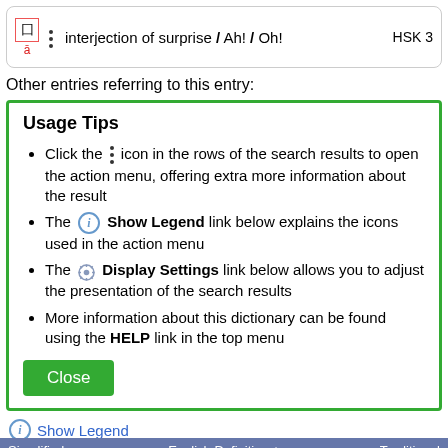□ ā  ⋮  interjection of surprise / Ah! / Oh!  HSK 3
Other entries referring to this entry:
Usage Tips
Click the ⋮ icon in the rows of the search results to open the action menu, offering extra more information about the result
The ⓘ Show Legend link below explains the icons used in the action menu
The ⚙ Display Settings link below allows you to adjust the presentation of the search results
More information about this dictionary can be found using the HELP link in the top menu
Close
ⓘ Show Legend
⚙ Display Settings
Simplified   English Definition +   Traditional